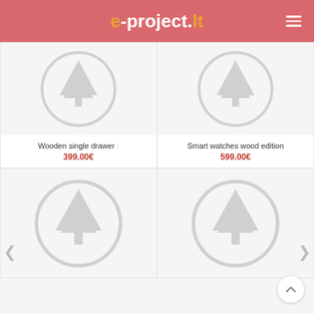e-project.lt
[Figure (illustration): Placeholder product image with gray tree icon in circle for Wooden single drawer]
Wooden single drawer
399.00€
[Figure (illustration): Placeholder product image with gray tree icon in circle for Smart watches wood edition]
Smart watches wood edition
599.00€
[Figure (illustration): Placeholder product image with gray tree icon in circle - bottom left]
[Figure (illustration): Placeholder product image with gray tree icon in circle - bottom right]